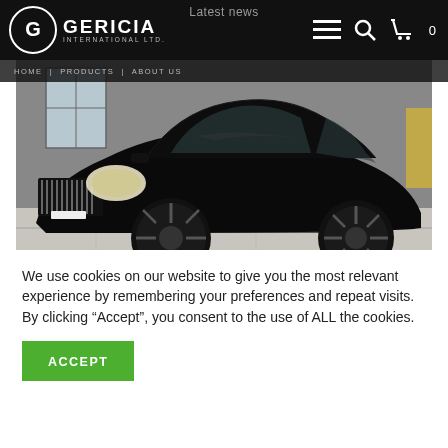Latest news
[Figure (logo): Gericia International Ltd. logo — circular emblem with stylized G on dark background, white text]
[Figure (photo): Black luxury sedan (Maybach-style) photographed in a showroom with light tile flooring, low front angle view showing grille, headlights and large multi-spoke wheels]
We use cookies on our website to give you the most relevant experience by remembering your preferences and repeat visits. By clicking “Accept”, you consent to the use of ALL the cookies.
ACCEPT